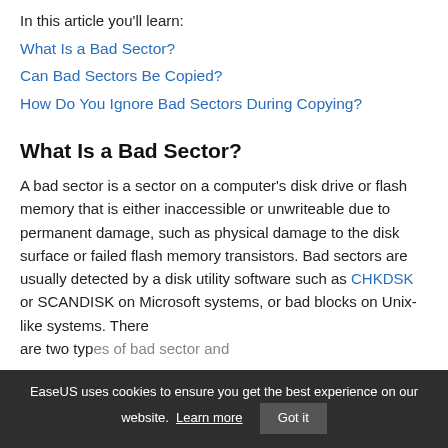In this article you'll learn:
What Is a Bad Sector?
Can Bad Sectors Be Copied?
How Do You Ignore Bad Sectors During Copying?
What Is a Bad Sector?
A bad sector is a sector on a computer's disk drive or flash memory that is either inaccessible or unwriteable due to permanent damage, such as physical damage to the disk surface or failed flash memory transistors. Bad sectors are usually detected by a disk utility software such as CHKDSK or SCANDISK on Microsoft systems, or bad blocks on Unix-like systems. There are two type...
EaseUS uses cookies to ensure you get the best experience on our website. Learn more  Got it